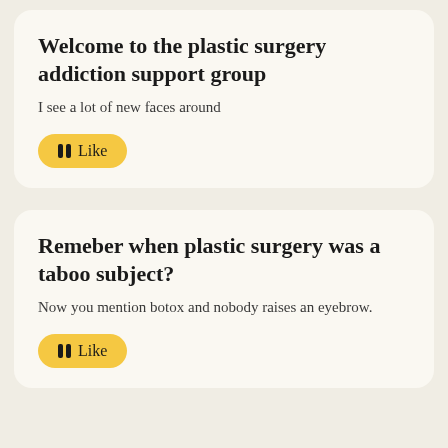Welcome to the plastic surgery addiction support group
I see a lot of new faces around
Remeber when plastic surgery was a taboo subject?
Now you mention botox and nobody raises an eyebrow.